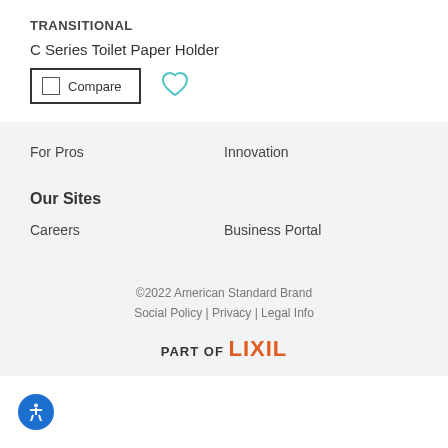TRANSITIONAL
C Series Toilet Paper Holder
Compare
For Pros
Innovation
Our Sites
Careers
Business Portal
©2022 American Standard Brand
Social Policy | Privacy | Legal Info
PART OF LIXIL